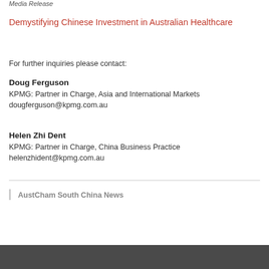Media Release
Demystifying Chinese Investment in Australian Healthcare
For further inquiries please contact:
Doug Ferguson
KPMG: Partner in Charge, Asia and International Markets
dougferguson@kpmg.com.au
Helen Zhi Dent
KPMG: Partner in Charge, China Business Practice
helenzhident@kpmg.com.au
AustCham South China News